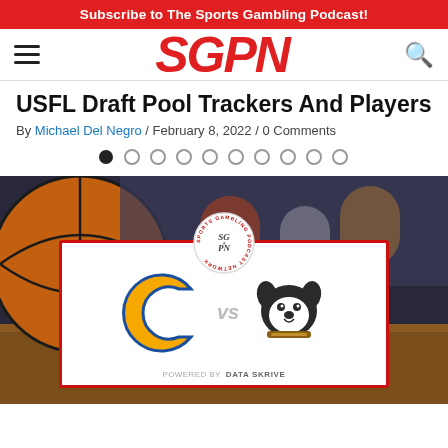Subscribe to The Sports Gambling Podcast!
SGPN
USFL Draft Pool Trackers And Players
By Michael Del Negro / February 8, 2022 / 0 Comments
[Figure (screenshot): Website screenshot showing SGPN (Sports Gambling Podcast Network) article page with a basketball game matchup image featuring Chattanooga (C logo) vs Wofford (bulldog logo) with SGPN circular badge on top, carousel navigation dots below the nav bar]